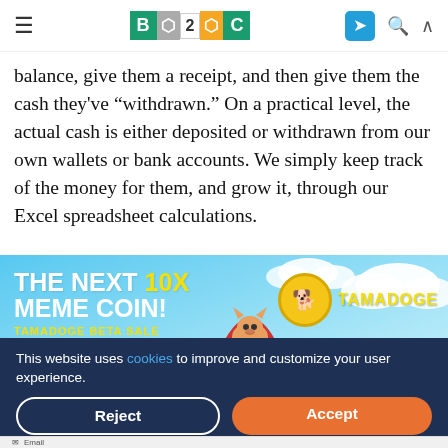B2C — navigation bar with hamburger menu, B2C logo, Telegram icon, search, and up arrow
balance, give them a receipt, and then give them the cash they've "withdrawn." On a practical level, the actual cash is either deposited or withdrawn from our own wallets or bank accounts. We simply keep track of the money for them, and grow it, through our Excel spreadsheet calculations.
[Figure (illustration): Tamadoge advertisement banner: sky blue background with clouds, rocket with a Shiba Inu dog on top, text says 'THE NEXT 10X MEME COIN! TAMADOGE BETA SALE LIVE ▶' with Tamadoge coin logo on the right.]
This website uses cookies to improve and customize your user experience.
Email